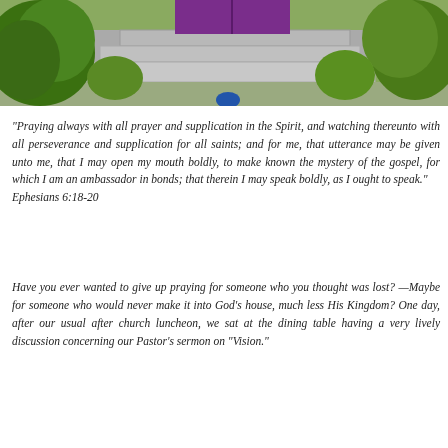[Figure (photo): Outdoor photo showing stone steps leading up to a purple door, flanked by green bushes and shrubs on either side]
“Praying always with all prayer and supplication in the Spirit, and watching thereunto with all perseverance and supplication for all saints; and for me, that utterance may be given unto me, that I may open my mouth boldly, to make known the mystery of the gospel, for which I am an ambassador in bonds; that therein I may speak boldly, as I ought to speak.” Ephesians 6:18-20
Have you ever wanted to give up praying for someone who you thought was lost? —Maybe for someone who would never make it into God’s house, much less His Kingdom? One day, after our usual after church luncheon, we sat at the dining table having a very lively discussion concerning our Pastor's sermon on “Vision.”